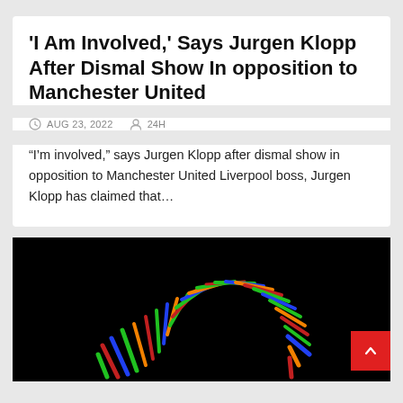'I Am Involved,' Says Jurgen Klopp After Dismal Show In opposition to Manchester United
AUG 23, 2022   24H
“I’m involved,” says Jurgen Klopp after dismal show in opposition to Manchester United Liverpool boss, Jurgen Klopp has claimed that…
[Figure (photo): A colorful glowing arch/horseshoe shape made of multicolored light streaks (green, red, blue, orange) against a black background]